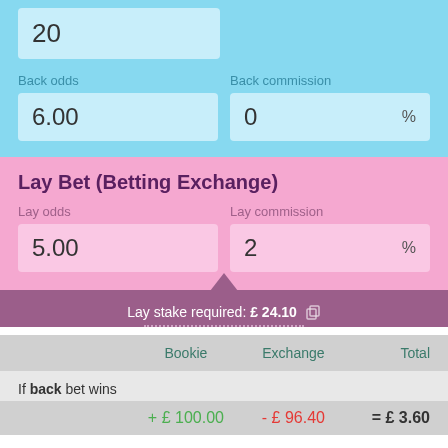20
Back odds
6.00
Back commission
0 %
Lay Bet (Betting Exchange)
Lay odds
5.00
Lay commission
2 %
Lay stake required: £ 24.10
|  | Bookie | Exchange | Total |
| --- | --- | --- | --- |
| If back bet wins |  |  |  |
|  | + £ 100.00 | - £ 96.40 | = £ 3.60 |